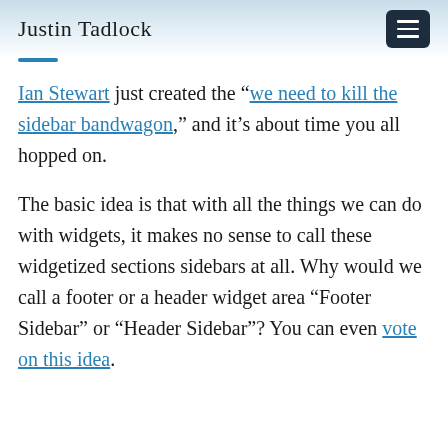Justin Tadlock
Ian Stewart just created the “we need to kill the sidebar bandwagon,” and it’s about time you all hopped on.
The basic idea is that with all the things we can do with widgets, it makes no sense to call these widgetized sections sidebars at all. Why would we call a footer or a header widget area “Footer Sidebar” or “Header Sidebar”? You can even vote on this idea.